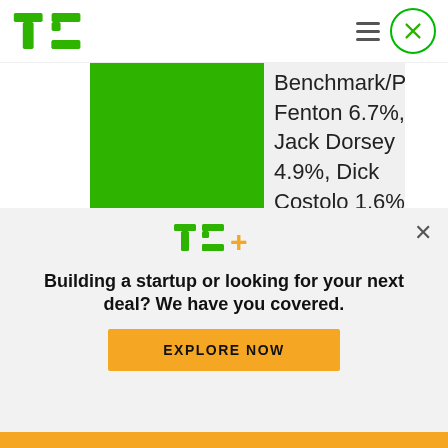TechCrunch
|  |  |
| --- | --- |
| Notable Shareholders | Benchmark/Peter Fenton 6.7%, Jack Dorsey 4.9%, Dick Costolo 1.6%, Rizvi Traverse, Spark Capital, ICV and DST |
[Figure (logo): TechCrunch TC+ logo]
Building a startup or looking for your next deal? We have you covered.
EXPLORE NOW